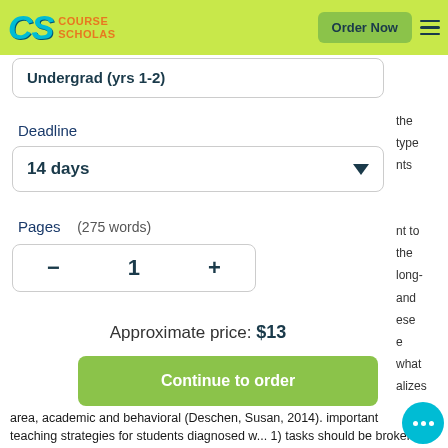CS Course Scholars | Order Now
Undergrad (yrs 1-2)
Deadline
14 days
Pages    (275 words)
1
Approximate price: $13
Continue to order
area, academic and behavioral (Deschen, Susan, 2014). important teaching strategies for students diagnosed w... 1) tasks should be broken down into small component steps